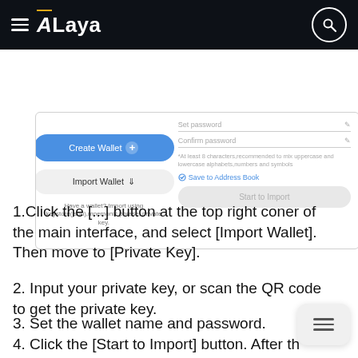ALaya
[Figure (screenshot): ALaya wallet app screenshot showing wallet creation/import screen with 'Create Wallet' button, 'Import Wallet' button, password input fields, 'Save to Address Book' option, and 'Start to Import' button]
1.Click the [...] button at the top right coner of the main interface, and select [Import Wallet]. Then move to [Private Key].
2. Input your private key, or scan the QR code to get the private key.
3. Set the wallet name and password.
4. Click the [Start to Import] button. After the verification is passed, the wallet is successfully